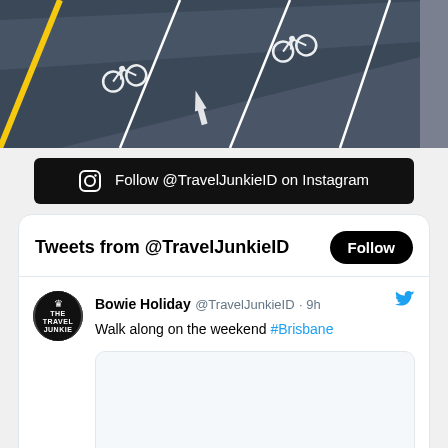[Figure (photo): Aerial/angled view of a road surface with bicycle lane markings, white painted arrows and cyclist icons, yellow center line, asphalt surface]
Follow @TravelJunkieID on Instagram
Tweets from @TravelJunkieID
Bowie Holiday @TravelJunkieID · 9h
Walk along on the weekend #Brisbane